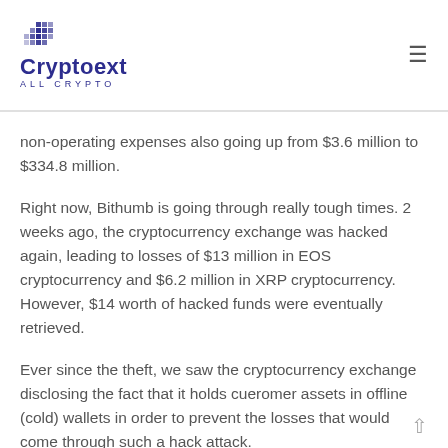Cryptoext ALL CRYPTO
non-operating expenses also going up from $3.6 million to $334.8 million.
Right now, Bithumb is going through really tough times. 2 weeks ago, the cryptocurrency exchange was hacked again, leading to losses of $13 million in EOS cryptocurrency and $6.2 million in XRP cryptocurrency. However, $14 worth of hacked funds were eventually retrieved.
Ever since the theft, we saw the cryptocurrency exchange disclosing the fact that it holds cueromer assets in offline (cold) wallets in order to prevent the losses that would come through such a hack attack.
Bitthumb is faced with serious financial issues. This is pretty much obvious. As a result, it is expected that cost-cutting measures will be implemented. The cryptocurrency local